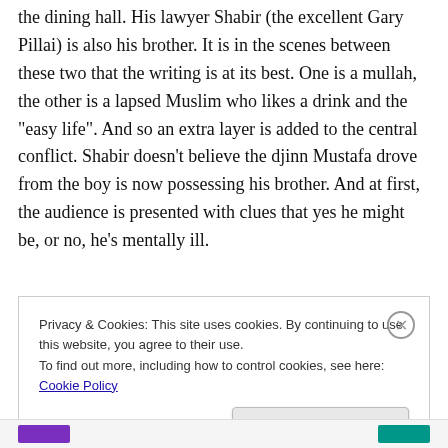the dining hall. His lawyer Shabir (the excellent Gary Pillai) is also his brother. It is in the scenes between these two that the writing is at its best. One is a mullah, the other is a lapsed Muslim who likes a drink and the "easy life". And so an extra layer is added to the central conflict. Shabir doesn't believe the djinn Mustafa drove from the boy is now possessing his brother. And at first, the audience is presented with clues that yes he might be, or no, he's mentally ill.
Privacy & Cookies: This site uses cookies. By continuing to use this website, you agree to their use.
To find out more, including how to control cookies, see here: Cookie Policy
Close and accept